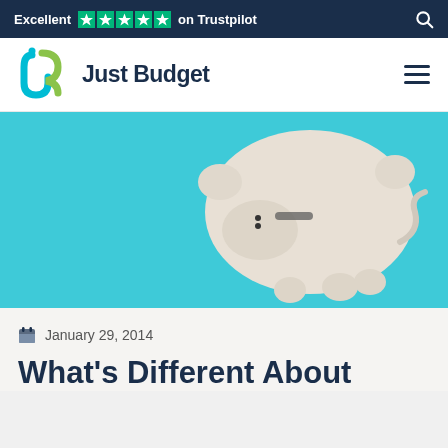Excellent ★★★★★ on Trustpilot
[Figure (logo): Just Budget logo with stylised 'jb' letters in green and cyan, followed by 'Just Budget' text in dark navy]
[Figure (photo): A white ceramic piggy bank lying on its side on a bright turquoise/cyan background, viewed from above]
January 29, 2014
What's Different About